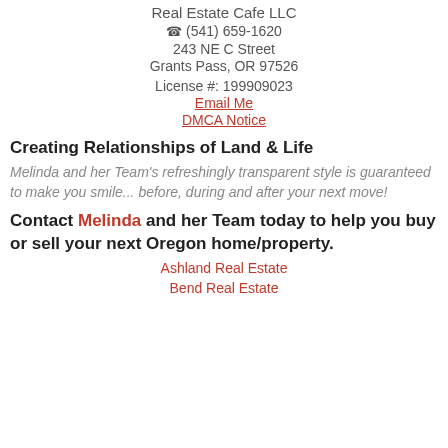Real Estate Cafe LLC
(541) 659-1620
243 NE C Street
Grants Pass, OR 97526
License #: 199909023
Email Me
DMCA Notice
Creating Relationships of Land & Life
Melinda and her Team's refreshingly transparent style is guaranteed to make you smile... before, during and after your next move!
Contact Melinda and her Team today to help you buy or sell your next Oregon home/property.
Ashland Real Estate
Bend Real Estate